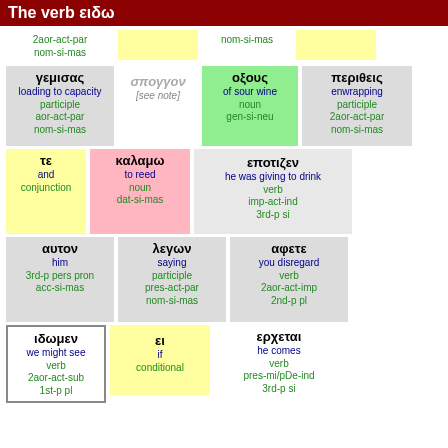The verb ειδω
| 2aor-act-par nom-si-mas |  | nom-si-mas |  |
| γεμισας / loading to capacity / participle / aor-act-par / nom-si-mas | σπογγον [see note] | οξους / of sour wine / noun / gen-si-neu | περιθεις / enwrapping / participle / 2aor-act-par / nom-si-mas |
| τε / and / conjunction | καλαμω / to reed / noun / dat-si-mas | επoτιζεν / he was giving to drink / verb / imp-act-ind / 3rd-p si |  |
| αυτον / him / 3rd-p pers pron / acc-si-mas | λεγων / saying / participle / pres-act-par / nom-si-mas | αφετε / you disregard / verb / 2aor-act-imp / 2nd-p pl |  |
| ιδωμεν / we might see / verb / 2aor-act-sub / 1st-p pl | ει / if / conditional | ερχεται / he comes / verb / pres-mi/pDe-ind / 3rd-p si |  |